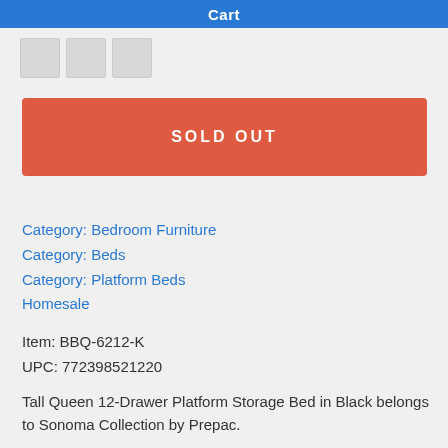Cart
[Figure (other): Three small thumbnail images in a row]
SOLD OUT
Category: Bedroom Furniture
Category: Beds
Category: Platform Beds
Homesale
Item: BBQ-6212-K
UPC: 772398521220
Tall Queen 12-Drawer Platform Storage Bed in Black belongs to Sonoma Collection by Prepac.